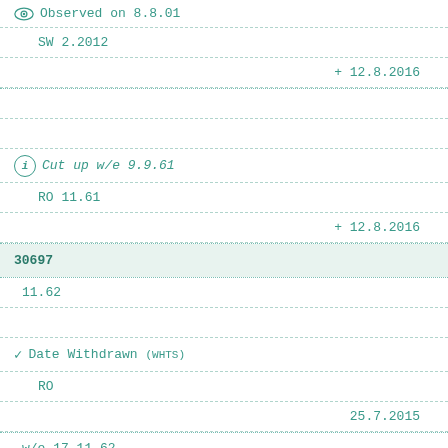Observed on 8.8.01
SW 2.2012
+ 12.8.2016
Cut up w/e 9.9.61
RO 11.61
+ 12.8.2016
30697
11.62
Date Withdrawn (WHTS)
RO
25.7.2015
w/e 17.11.62